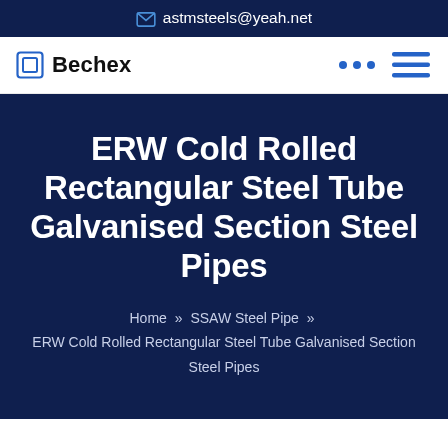astmsteels@yeah.net
Bechex
ERW Cold Rolled Rectangular Steel Tube Galvanised Section Steel Pipes
Home » SSAW Steel Pipe » ERW Cold Rolled Rectangular Steel Tube Galvanised Section Steel Pipes